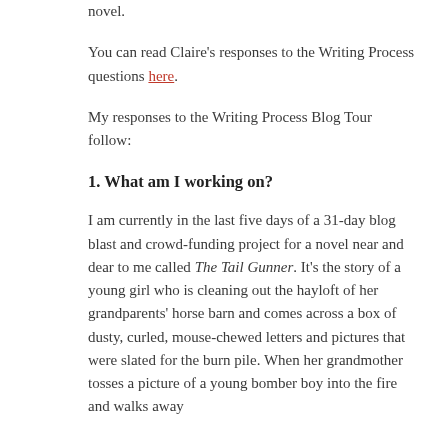novel.
You can read Claire's responses to the Writing Process questions here.
My responses to the Writing Process Blog Tour follow:
1. What am I working on?
I am currently in the last five days of a 31-day blog blast and crowd-funding project for a novel near and dear to me called The Tail Gunner. It's the story of a young girl who is cleaning out the hayloft of her grandparents' horse barn and comes across a box of dusty, curled, mouse-chewed letters and pictures that were slated for the burn pile. When her grandmother tosses a picture of a young bomber boy into the fire and walks away